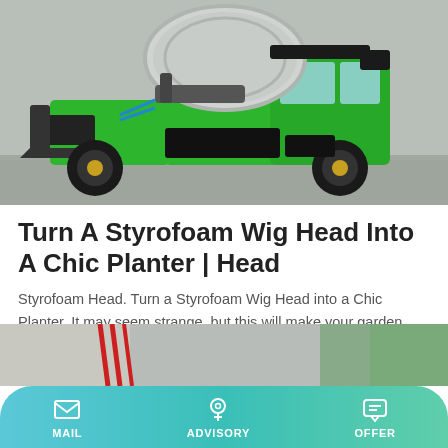[Figure (photo): Green concrete mixer truck / cement mixer vehicle photographed outdoors on a gravel surface]
Turn A Styrofoam Wig Head Into A Chic Planter | Head
Styrofoam Head. Turn a Styrofoam Wig Head into a Chic Planter. It may seem strange, but this will make your garden look amazing! dale395. D. Dale Nichols. For the Home. Cement Art. Concrete Crafts.
[Figure (photo): Partially visible image at bottom showing what appears to be red cables/wires near a wall and green trees]
MAIL   ADVISORY   OFFER